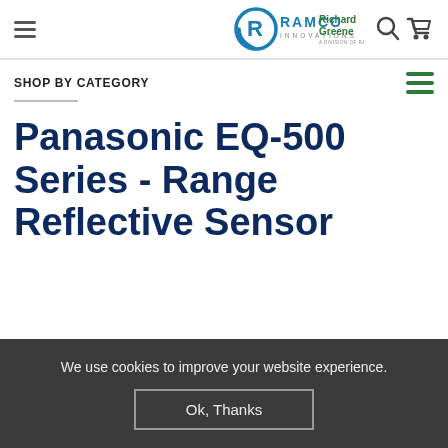[Figure (logo): Ramco Innovations logo with circular R icon and 'RAMCO INNOVATIONS' text, alongside 'Richard Greene' green text logo]
SHOP BY CATEGORY
Panasonic EQ-500 Series - Range Reflective Sensor
We use cookies to improve your website experience.
Ok, Thanks